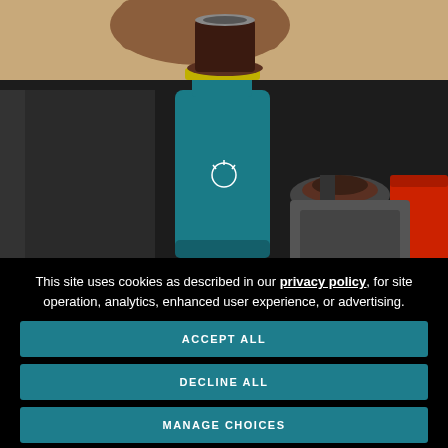[Figure (photo): Outdoor camping scene showing a teal/turquoise Hydro Flask insulated cup with a pour-over coffee dripper on top, placed on a dark portable table or case. Camping stove and red fuel canister visible on the right side.]
This site uses cookies as described in our privacy policy, for site operation, analytics, enhanced user experience, or advertising.
ACCEPT ALL
DECLINE ALL
MANAGE CHOICES